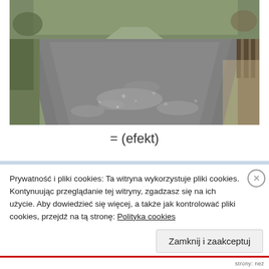[Figure (photo): Asphalt road or path viewed from above/perspective, with trees and forest vegetation visible at sides and background. Road surface appears wet or frosty with light speckling.]
= (efekt)
Prywatność i pliki cookies: Ta witryna wykorzystuje pliki cookies. Kontynuując przeglądanie tej witryny, zgadzasz się na ich użycie. Aby dowiedzieć się więcej, a także jak kontrolować pliki cookies, przejdź na tę stronę: Polityka cookies
Zamknij i zaakceptuj